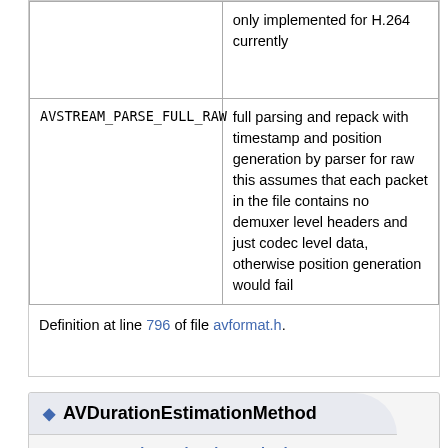|  |  |
| --- | --- |
|  | only implemented for H.264 currently |
| AVSTREAM_PARSE_FULL_RAW | full parsing and repack with timestamp and position generation by parser for raw this assumes that each packet in the file contains no demuxer level headers and just codec level data, otherwise position generation would fail |
Definition at line 796 of file avformat.h.
◆ AVDurationEstimationMethod
enum AVDurationEstimationMethod